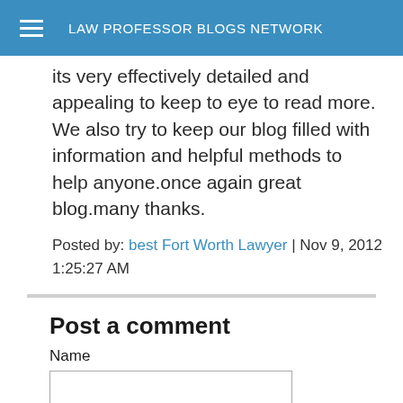LAW PROFESSOR BLOGS NETWORK
its very effectively detailed and appealing to keep to eye to read more. We also try to keep our blog filled with information and helpful methods to help anyone.once again great blog.many thanks.
Posted by: best Fort Worth Lawyer | Nov 9, 2012 1:25:27 AM
Post a comment
Name
Email
URL